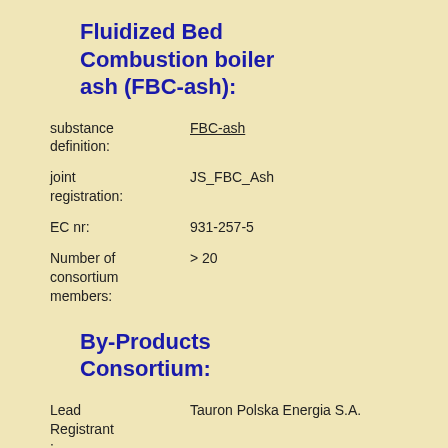Fluidized Bed Combustion boiler ash (FBC-ash):
| Field | Value |
| --- | --- |
| substance definition: | FBC-ash |
| joint registration: | JS_FBC_Ash |
| EC nr: | 931-257-5 |
| Number of consortium members: | > 20 |
By-Products Consortium:
| Field | Value |
| --- | --- |
| Lead Registrant: | Tauron Polska Energia S.A. |
| Project Manager: | Polish CCP-Union |
| Contact: | Tomasz.Szczygielski@pw.edu.pl |